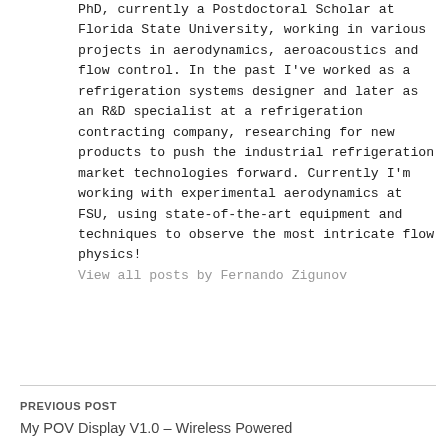PhD, currently a Postdoctoral Scholar at Florida State University, working in various projects in aerodynamics, aeroacoustics and flow control. In the past I've worked as a refrigeration systems designer and later as an R&D specialist at a refrigeration contracting company, researching for new products to push the industrial refrigeration market technologies forward. Currently I'm working with experimental aerodynamics at FSU, using state-of-the-art equipment and techniques to observe the most intricate flow physics!
View all posts by Fernando Zigunov
PREVIOUS POST
My POV Display V1.0 – Wireless Powered